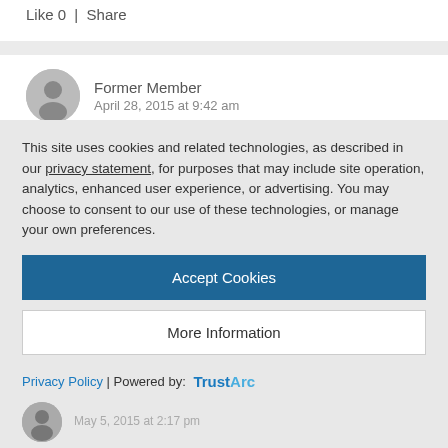Like 0  |  Share
Former Member
April 28, 2015 at 9:42 am
Hi Radhika,
I am part of the KMC UI development team and I can assure you
This site uses cookies and related technologies, as described in our privacy statement, for purposes that may include site operation, analytics, enhanced user experience, or advertising. You may choose to consent to our use of these technologies, or manage your own preferences.
Accept Cookies
More Information
Privacy Policy | Powered by: TrustArc
May 5, 2015 at 2:17 pm